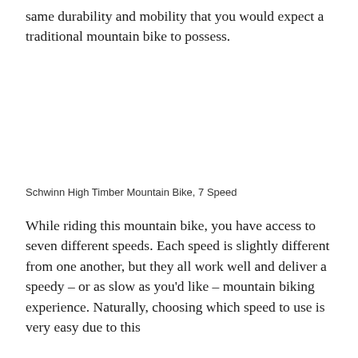same durability and mobility that you would expect a traditional mountain bike to possess.
Schwinn High Timber Mountain Bike, 7 Speed
While riding this mountain bike, you have access to seven different speeds. Each speed is slightly different from one another, but they all work well and deliver a speedy – or as slow as you'd like – mountain biking experience. Naturally, choosing which speed to use is very easy due to this